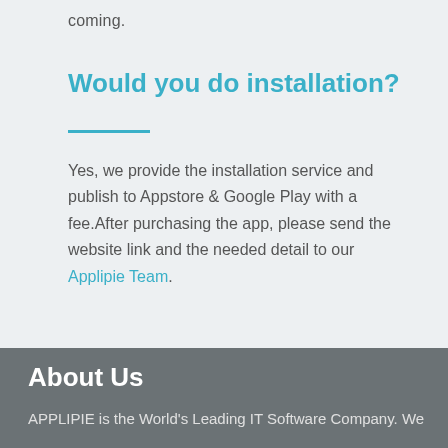coming.
Would you do installation?
Yes, we provide the installation service and publish to Appstore & Google Play with a fee.After purchasing the app, please send the website link and the needed detail to our Applipie Team.
About Us
APPLIPIE is the World's Leading IT Software Company. We